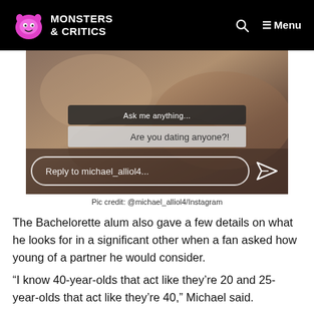Monsters & Critics — Menu
[Figure (screenshot): Instagram story screenshot showing 'Ask me anything...' bar, 'Are you dating anyone?!' question, and 'Reply to michael_alliol4...' reply input with send icon, overlaid on a blurred photo background.]
Pic credit: @michael_alliol4/Instagram
The Bachelorette alum also gave a few details on what he looks for in a significant other when a fan asked how young of a partner he would consider.
“I know 40-year-olds that act like they’re 20 and 25-year-olds that act like they’re 40,” Michael said.